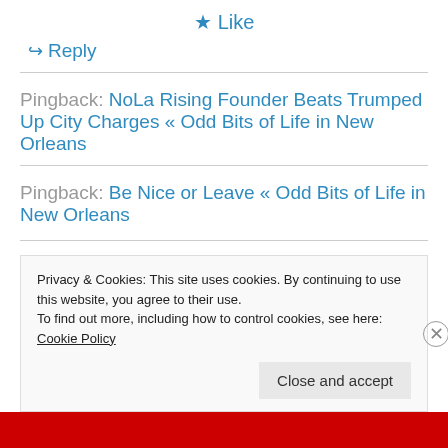★ Like
↪ Reply
Pingback: NoLa Rising Founder Beats Trumped Up City Charges « Odd Bits of Life in New Orleans
Pingback: Be Nice or Leave « Odd Bits of Life in New Orleans
Privacy & Cookies: This site uses cookies. By continuing to use this website, you agree to their use.
To find out more, including how to control cookies, see here: Cookie Policy
Close and accept